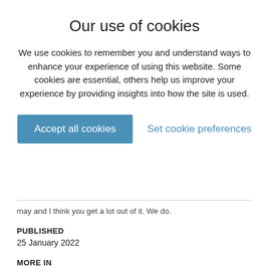Our use of cookies
We use cookies to remember you and understand ways to enhance your experience of using this website. Some cookies are essential, others help us improve your experience by providing insights into how the site is used.
Accept all cookies
Set cookie preferences
may and I think you get a lot out of it. We do.
PUBLISHED
25 January 2022
MORE IN
Stories